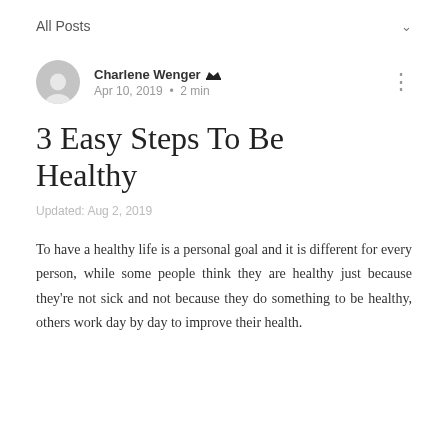All Posts
Charlene Wenger · Apr 10, 2019 · 2 min
3 Easy Steps To Be Healthy
Updated: Aug 2, 2019
To have a healthy life is a personal goal and it is different for every person, while some people think they are healthy just because they're not sick and not because they do something to be healthy, others work day by day to improve their health.